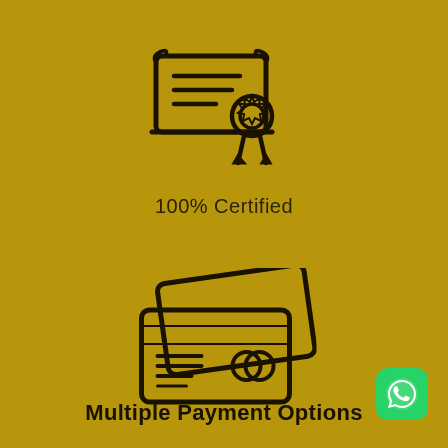[Figure (illustration): Certificate icon with scroll/document and badge/medal with ribbon, drawn in dark outline style on golden background]
100% Certified
[Figure (illustration): Two credit/payment cards stacked at an angle, drawn in dark outline style on golden background]
Multiple Payment Options
[Figure (logo): WhatsApp green rounded square icon in bottom right corner]